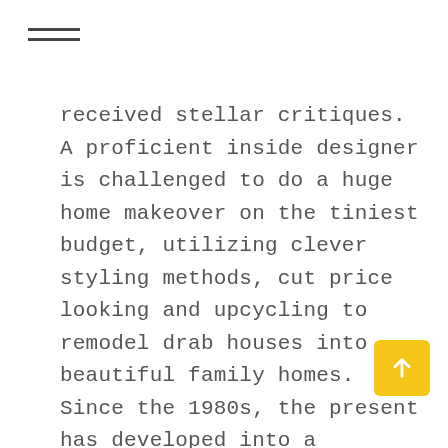≡
received stellar critiques. A proficient inside designer is challenged to do a huge home makeover on the tiniest budget, utilizing clever styling methods, cut price looking and upcycling to remodel drab houses into beautiful family homes. Since the 1980s, the present has developed into a multiplatform media powerhouse. In addition to the flagship program, viewers can tune in to the spin-off TV show Ask This Old House, in which the cast helps owners with smaller-scale repairs and upgrades.
    While there are undoubtedly other